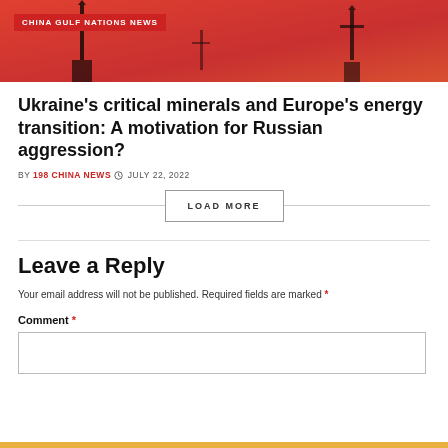[Figure (photo): Hero image with red/orange background showing dark silhouettes of industrial structures]
CHINA GULF NATIONS NEWS
Ukraine’s critical minerals and Europe’s energy transition: A motivation for Russian aggression?
BY 198 CHINA NEWS ● JULY 22, 2022
LOAD MORE
Leave a Reply
Your email address will not be published. Required fields are marked *
Comment *